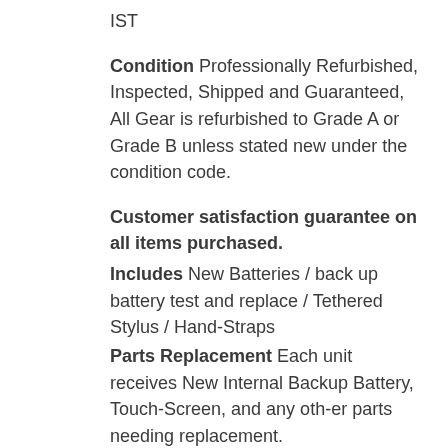IST
Condition Professionally Refurbished, Inspected, Shipped and Guaranteed, All Gear is refurbished to Grade A or Grade B unless stated new under the condition code.
Customer satisfaction guarantee on all items purchased.
Includes New Batteries / back up battery test and replace / Tethered Stylus / Hand-Straps
Parts Replacement Each unit receives New Internal Backup Battery, Touch-Screen, and any oth-er parts needing replacement.
Hardware and software testing done on unit Wi Fi 802.11 a/b/g/n Radio, Bluetooth radio card, Scanner function, Keyboard function, Touch-Screen test, OS Platform, SD Card Slot, communica-tion and charging Pins,